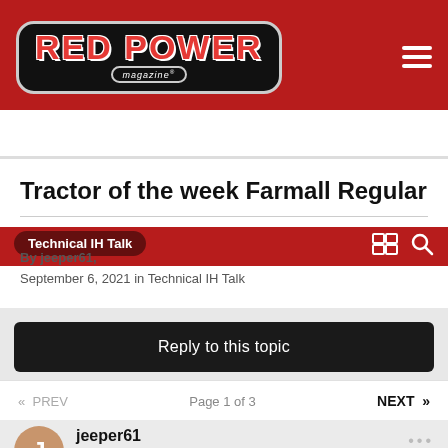[Figure (logo): Red Power Magazine logo on dark header with hamburger menu]
Technical IH Talk
Tractor of the week Farmall Regular
By jeeper61, September 6, 2021 in Technical IH Talk
Reply to this topic
« PREV  Page 1 of 3  NEXT »
jeeper61
Posted September 6, 2021